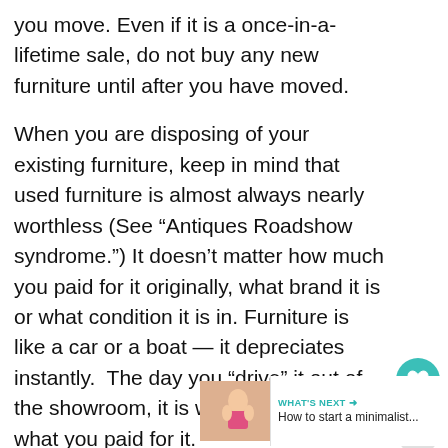you move. Even if it is a once-in-a-lifetime sale, do not buy any new furniture until after you have moved.
When you are disposing of your existing furniture, keep in mind that used furniture is almost always nearly worthless (See “Antiques Roadshow syndrome.”) It doesn’t matter how much you paid for it originally, what brand it is or what condition it is in. Furniture is like a car or a boat — it depreciates instantly.  The day you “drive” it out of the showroom, it is worth a fraction of what you paid for it.
[Figure (other): Heart icon (teal circle with heart symbol) and share icon (grey circle with share symbol) floating on the right side of the page]
[Figure (other): WHAT'S NEXT banner with thumbnail photo and text: How to start a minimalist...]